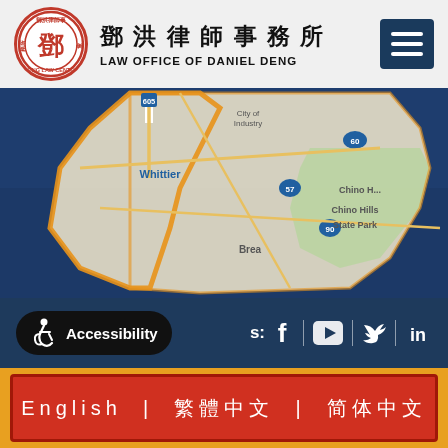[Figure (logo): Deng Law Center circular logo with Chinese characters and red border]
鄧洪律師事務所 LAW OFFICE OF DANIEL DENG
[Figure (map): Map showing a region of Southern California including Whittier, Brea, Chino Hills State Park, City of Industry with highways 605, 57, 60, 90 marked, highlighted district boundary in orange/gold]
Accessibility | Facebook | YouTube | Twitter | LinkedIn
English | 繁體中文 | 简体中文